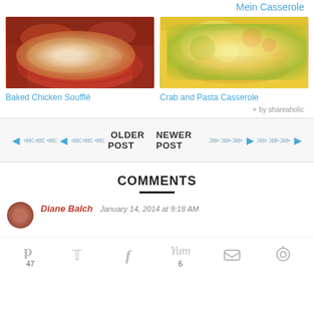Mein Casserole
[Figure (photo): Photo of Baked Chicken Soufflé dish on a red plate with striped napkin]
Baked Chicken Soufflé
[Figure (photo): Photo of Crab and Pasta Casserole in a baking dish]
Crab and Pasta Casserole
✦ by shareaholic
OLDER POST
NEWER POST
COMMENTS
Diane Balch
January 14, 2014 at 9:18 AM